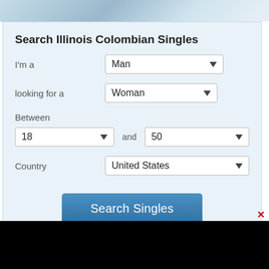[Figure (photo): Top portion of a photo showing a couple embracing, cropped to just show tops of heads/shoulders with light blue/sky background]
Search Illinois Colombian Singles
I'm a   Man ▾
looking for a   Woman ▾
Between
18 ▾  and  50 ▾
Country   United States ▾
Search Singles